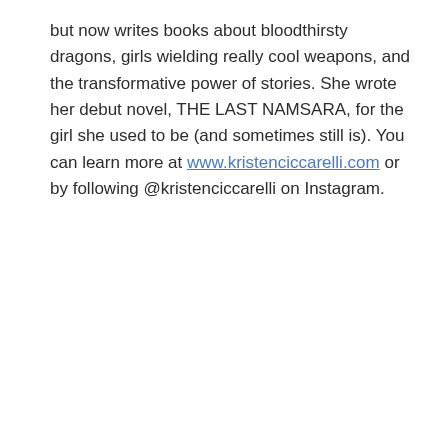but now writes books about bloodthirsty dragons, girls wielding really cool weapons, and the transformative power of stories. She wrote her debut novel, THE LAST NAMSARA, for the girl she used to be (and sometimes still is). You can learn more at www.kristenciccarelli.com or by following @kristenciccarelli on Instagram.